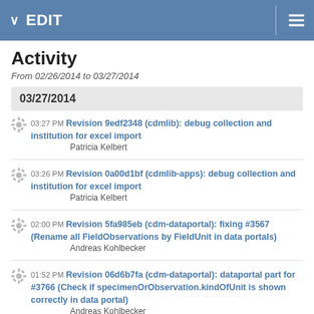EDIT
Activity
From 02/26/2014 to 03/27/2014
03/27/2014
03:27 PM Revision 9edf2348 (cdmlib): debug collection and institution for excel import
Patricia Kelbert
03:26 PM Revision 0a00d1bf (cdmlib-apps): debug collection and institution for excel import
Patricia Kelbert
02:00 PM Revision 5fa985eb (cdm-dataportal): fixing #3567 (Rename all FieldObservations by FieldUnit in data portals)
Andreas Kohlbecker
01:52 PM Revision 06d6b7fa (cdm-dataportal): dataportal part for #3766 (Check if specimenOrObservation.kindOfUnit is shown correctly in data portal)
Andreas Kohlbecker